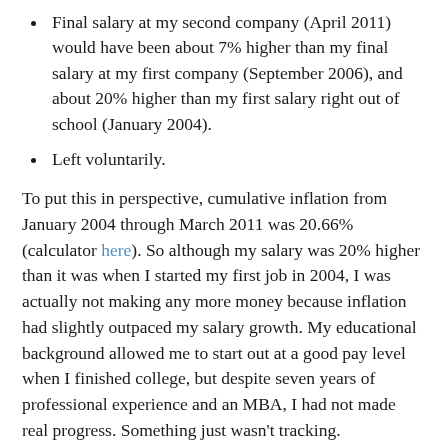Final salary at my second company (April 2011) would have been about 7% higher than my final salary at my first company (September 2006), and about 20% higher than my first salary right out of school (January 2004).
Left voluntarily.
To put this in perspective, cumulative inflation from January 2004 through March 2011 was 20.66% (calculator here). So although my salary was 20% higher than it was when I started my first job in 2004, I was actually not making any more money because inflation had slightly outpaced my salary growth. My educational background allowed me to start out at a good pay level when I finished college, but despite seven years of professional experience and an MBA, I had not made real progress. Something just wasn’t tracking.